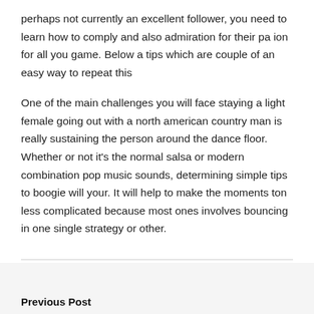perhaps not currently an excellent follower, you need to learn how to comply and also admiration for their pa ion for all you game. Below a tips which are couple of an easy way to repeat this
One of the main challenges you will face staying a light female going out with a north american country man is really sustaining the person around the dance floor. Whether or not it's the normal salsa or modern combination pop music sounds, determining simple tips to boogie will your. It will help to make the moments ton less complicated because most ones involves bouncing in one single strategy or other.
Previous Post